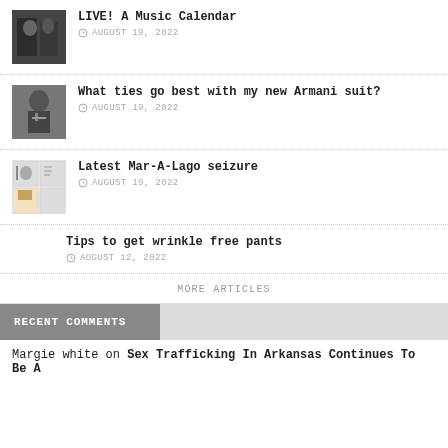LIVE! A Music Calendar
AUGUST 19, 2022
What ties go best with my new Armani suit?
AUGUST 19, 2022
Latest Mar-A-Lago seizure
AUGUST 19, 2022
Tips to get wrinkle free pants
AUGUST 12, 2022
MORE ARTICLES
RECENT COMMENTS
Margie white on Sex Trafficking In Arkansas Continues To Be A